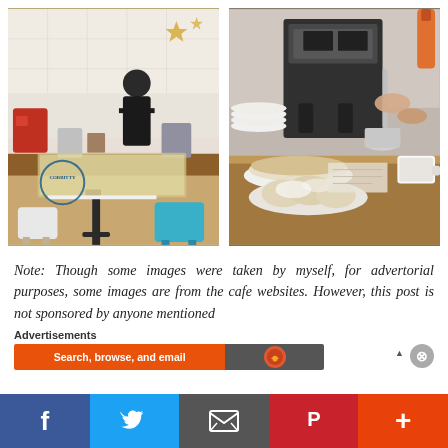[Figure (photo): Interior of a cafe with a barista behind the counter, white tile walls, shelves with items, a white square table and a blue chair in the foreground, Cobbitty cafe logo visible]
[Figure (photo): Close-up of a cafe counter with an espresso machine, hands preparing coffee, stacked plates, pastries and scones on a plate, coffee cups]
Note: Though some images were taken by myself, for advertorial purposes, some images are from the cafe websites. However, this post is not sponsored by anyone mentioned
Advertisements
Search, browse, and email
f  [Twitter bird]  [Email icon]  [Pinterest P]  +